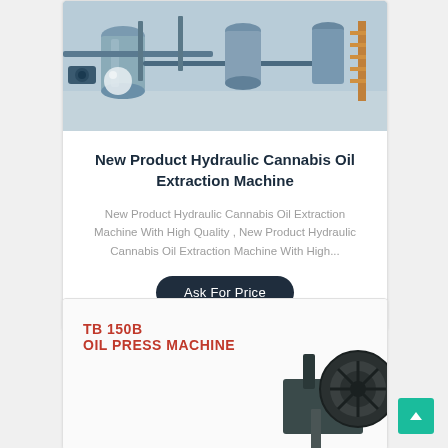[Figure (photo): Industrial hydraulic cannabis oil extraction machine equipment facility with tanks, pipes, and stainless steel apparatus in a clean room environment]
New Product Hydraulic Cannabis Oil Extraction Machine
New Product Hydraulic Cannabis Oil Extraction Machine With High Quality , New Product Hydraulic Cannabis Oil Extraction Machine With High...
Ask For Price
[Figure (photo): TB 150B Oil Press Machine product listing image showing industrial oil press equipment]
TB 150B
OIL PRESS MACHINE